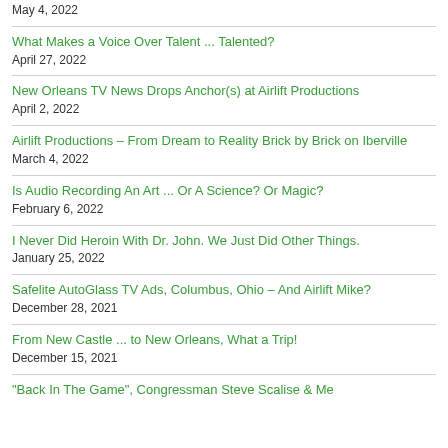May 4, 2022
What Makes a Voice Over Talent ... Talented?
April 27, 2022
New Orleans TV News Drops Anchor(s) at Airlift Productions
April 2, 2022
Airlift Productions – From Dream to Reality Brick by Brick on Iberville
March 4, 2022
Is Audio Recording An Art ... Or A Science? Or Magic?
February 6, 2022
I Never Did Heroin With Dr. John. We Just Did Other Things.
January 25, 2022
Safelite AutoGlass TV Ads, Columbus, Ohio – And Airlift Mike?
December 28, 2021
From New Castle ... to New Orleans, What a Trip!
December 15, 2021
"Back In The Game", Congressman Steve Scalise & Me